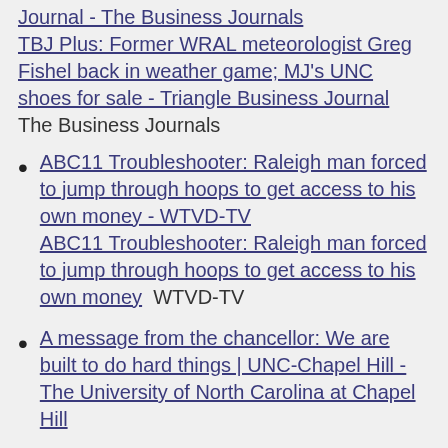Journal - The Business Journals TBJ Plus: Former WRAL meteorologist Greg Fishel back in weather game; MJ's UNC shoes for sale - Triangle Business Journal  The Business Journals
ABC11 Troubleshooter: Raleigh man forced to jump through hoops to get access to his own money - WTVD-TV ABC11 Troubleshooter: Raleigh man forced to jump through hoops to get access to his own money  WTVD-TV
A message from the chancellor: We are built to do hard things | UNC-Chapel Hill - The University of North Carolina at Chapel Hill